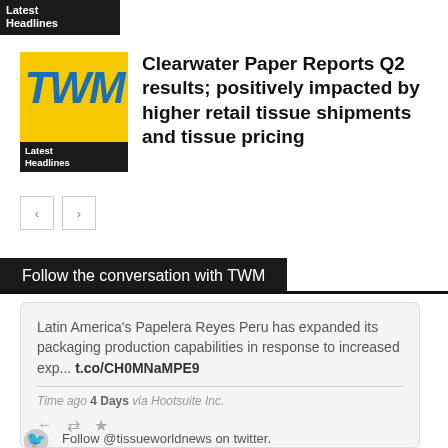Latest Headlines
[Figure (logo): TWM magazine logo with yellow background, blue italic TWM letters, and black 'Latest Headlines' bar at bottom]
Clearwater Paper Reports Q2 results; positively impacted by higher retail tissue shipments and tissue pricing
Follow the conversation with TWM
Latin America's Papelera Reyes Peru has expanded its packaging production capabilities in response to increased exp... t.co/CH0MNaMPE9
Time ago 4 Days via Hootsuite Inc.
Follow @tissueworldnews on twitter.